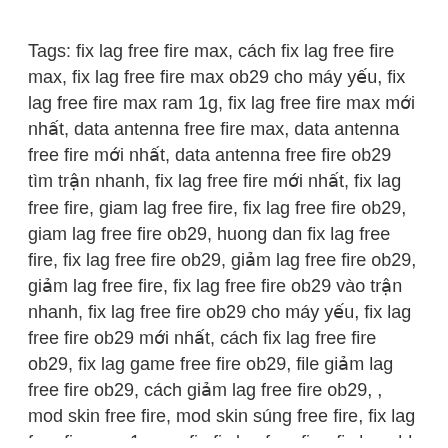Tags: fix lag free fire max, cách fix lag free fire max, fix lag free fire max ob29 cho máy yếu, fix lag free fire max ram 1g, fix lag free fire max mới nhất, data antenna free fire max, data antenna free fire mới nhất, data antenna free fire ob29 tìm trận nhanh, fix lag free fire mới nhất, fix lag free fire, giam lag free fire, fix lag free fire ob29, giam lag free fire ob29, huong dan fix lag free fire, fix lag free fire ob29, giảm lag free fire ob29, giảm lag free fire, fix lag free fire ob29 vào trận nhanh, fix lag free fire ob29 cho máy yếu, fix lag free fire ob29 mới nhất, cách fix lag free fire ob29, fix lag game free fire ob29, file giảm lag free fire ob29, cách giảm lag free fire ob29, , mod skin free fire, mod skin súng free fire, fix lag free fire ram 1g, config fix lag free fire, fix lag obb free fire, fix obb free fire, obb free fire lite,fix lag free fire ob29, cách fix lag free fire ob29, garena free fire ob29, cách bật fps cao free fire, fps cao free fire, giảm giật lag free fire ob29, fix lag obb free fire, fix lag free fire ob29 cho